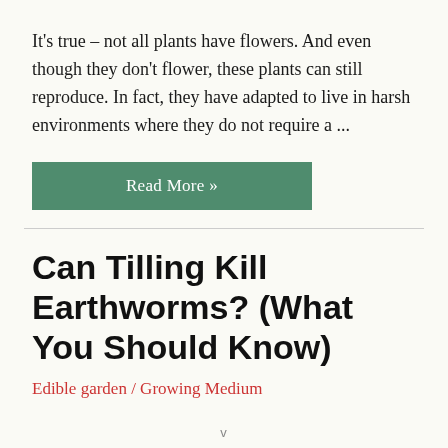It's true – not all plants have flowers.  And even though they don't flower, these plants can still reproduce. In fact, they have adapted to live in harsh environments where they do not require a ...
Read More »
Can Tilling Kill Earthworms? (What You Should Know)
Edible garden / Growing Medium